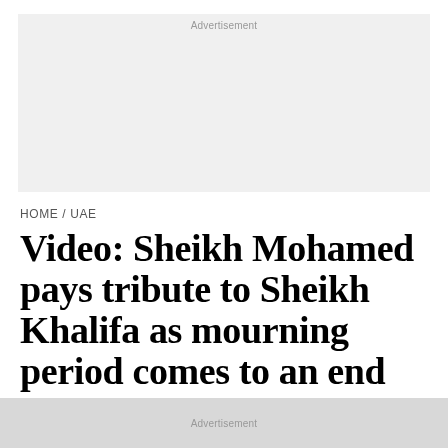Advertisement
HOME / UAE
Video: Sheikh Mohamed pays tribute to Sheikh Khalifa as mourning period comes to an end
'We continue to be inspired by the life and …
Advertisement